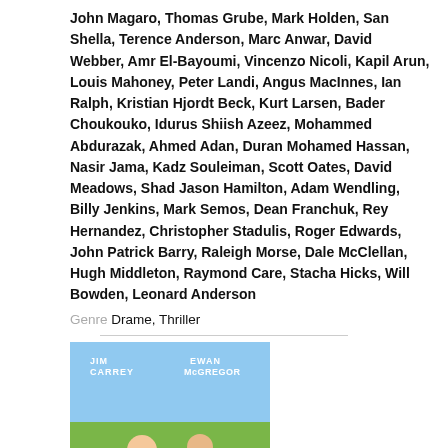John Magaro, Thomas Grube, Mark Holden, San Shella, Terence Anderson, Marc Anwar, David Webber, Amr El-Bayoumi, Vincenzo Nicoli, Kapil Arun, Louis Mahoney, Peter Landi, Angus MacInnes, Ian Ralph, Kristian Hjordt Beck, Kurt Larsen, Bader Choukouko, Idurus Shiish Azeez, Mohammed Abdurazak, Ahmed Adan, Duran Mohamed Hassan, Nasir Jama, Kadz Souleiman, Scott Oates, David Meadows, Shad Jason Hamilton, Adam Wendling, Billy Jenkins, Mark Semos, Dean Franchuk, Rey Hernandez, Christopher Stadulis, Roger Edwards, John Patrick Barry, Raleigh Morse, Dale McClellan, Hugh Middleton, Raymond Care, Stacha Hicks, Will Bowden, Leonard Anderson
Genre Drame, Thriller
[Figure (photo): Movie poster for 'I Love You Phillip Morris' featuring Jim Carrey and Ewan McGregor on a green background with the movie title text]
I Love You Phillip Morris
2009 - 1h36min